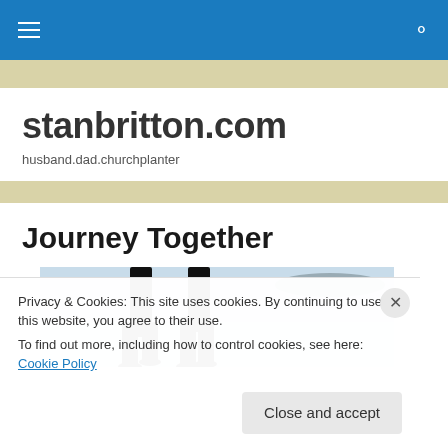stanbritton.com — navigation bar with hamburger menu and search icon
stanbritton.com
husband.dad.churchplanter
Journey Together
[Figure (photo): Two people walking in snow, seen from legs down, silhouetted against a bright snowy landscape]
Privacy & Cookies: This site uses cookies. By continuing to use this website, you agree to their use.
To find out more, including how to control cookies, see here: Cookie Policy
Close and accept